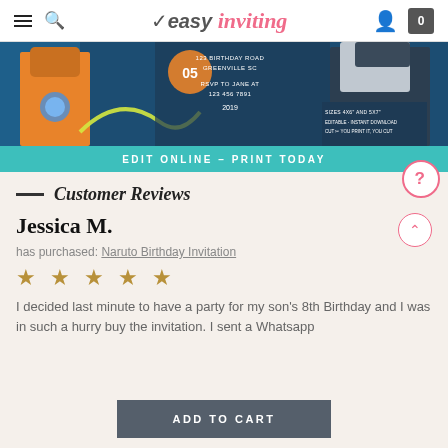easy inviting — navigation header with hamburger menu, search, logo, user icon, cart (0)
[Figure (photo): Naruto birthday invitation product image showing anime characters on dark blue background with party details text: 123 BIRTHDAY ROAD, GREENVILLE SC, RSVP TO JANE AT 123 456 7891, 2019. Sizes 4x6 and 5x7. Editable - Instant Download. Teal banner below reads: EDIT ONLINE - PRINT TODAY]
Customer Reviews
Jessica M.
has purchased: Naruto Birthday Invitation
★ ★ ★ ★ ★
I decided last minute to have a party for my son's 8th Birthday and I was in such a hurry buy the invitation. I sent a Whatsapp